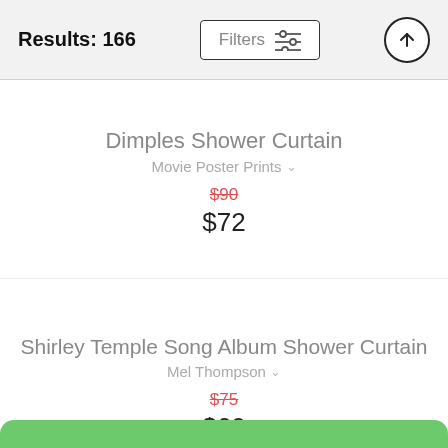Results: 166
Dimples Shower Curtain
Movie Poster Prints
$90 (original price, struck through)
$72
Shirley Temple Song Album Shower Curtain
Mel Thompson
$75 (original price, struck through)
$60